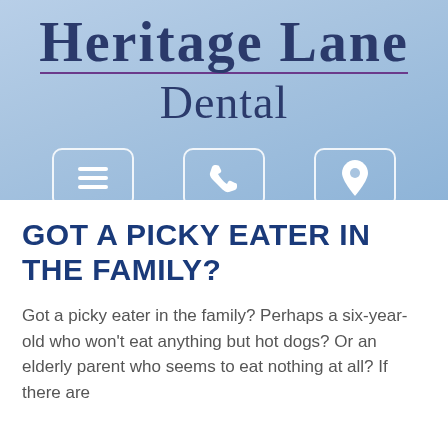[Figure (logo): Heritage Lane Dental logo with large serif text and purple horizontal rule]
[Figure (infographic): Three navigation icon buttons: hamburger menu, phone handset, map pin location — white outlined rounded-rectangle buttons on blue gradient background]
GOT A PICKY EATER IN THE FAMILY?
Got a picky eater in the family? Perhaps a six-year-old who won't eat anything but hot dogs? Or an elderly parent who seems to eat nothing at all? If there are